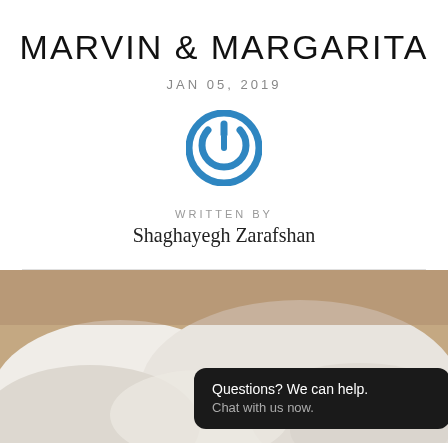MARVIN & MARGARITA
JAN 05, 2019
[Figure (logo): Blue circular power button icon]
WRITTEN BY
Shaghayegh Zarafshan
[Figure (photo): A bedroom scene with white pillows and a taupe headboard, with a dark chat bubble overlay reading 'Questions? We can help. Chat with us now.']